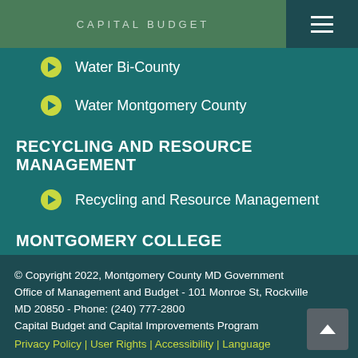CAPITAL BUDGET
Water Bi-County
Water Montgomery County
RECYCLING AND RESOURCE MANAGEMENT
Recycling and Resource Management
MONTGOMERY COLLEGE
Higher Education
© Copyright 2022, Montgomery County MD Government Office of Management and Budget - 101 Monroe St, Rockville MD 20850 - Phone: (240) 777-2800 Capital Budget and Capital Improvements Program Privacy Policy | User Rights | Accessibility | Language